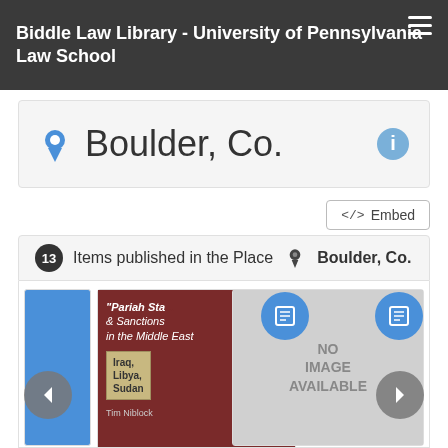Biddle Law Library - University of Pennsylvania Law School
Boulder, Co.
</> Embed
13 Items published in the Place  Boulder, Co.
[Figure (screenshot): Book browser showing 'Pariah States & Sanctions in the Middle East: Iraq, Libya, Sudan' by Tim Niblock and a book with no image available, with navigation arrows]